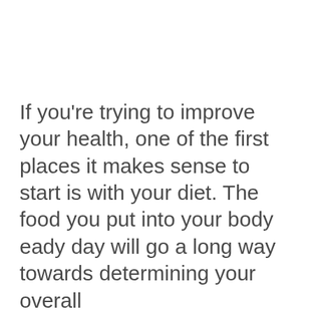If you're trying to improve your health, one of the first places it makes sense to start is with your diet. The food you put into your body eady day will go a long way towards determining your overall